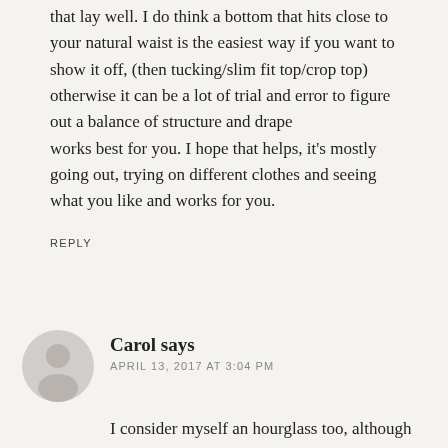that lay well. I do think a bottom that hits close to your natural waist is the easiest way if you want to show it off, (then tucking/slim fit top/crop top) otherwise it can be a lot of trial and error to figure out a balance of structure and drape
works best for you. I hope that helps, it's mostly going out, trying on different clothes and seeing what you like and works for you.
REPLY
Carol says
APRIL 13, 2017 AT 3:04 PM
I consider myself an hourglass too, although I'm 34/27/37 (so maybe you'd consider me pear-shaped), and I love the crop top/high-